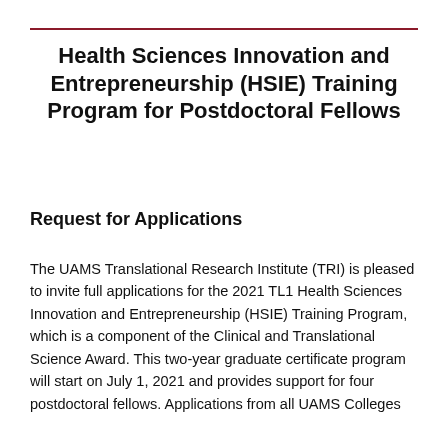Health Sciences Innovation and Entrepreneurship (HSIE) Training Program for Postdoctoral Fellows
Request for Applications
The UAMS Translational Research Institute (TRI) is pleased to invite full applications for the 2021 TL1 Health Sciences Innovation and Entrepreneurship (HSIE) Training Program, which is a component of the Clinical and Translational Science Award. This two-year graduate certificate program will start on July 1, 2021 and provides support for four postdoctoral fellows. Applications from all UAMS Colleges